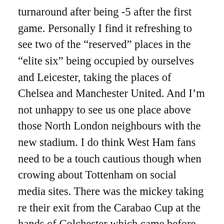turnaround after being -5 after the first game. Personally I find it refreshing to see two of the “reserved” places in the “elite six” being occupied by ourselves and Leicester, taking the places of Chelsea and Manchester United. And I’m not unhappy to see us one place above those North London neighbours with the new stadium. I do think West Ham fans need to be a touch cautious though when crowing about Tottenham on social media sites. There was the mickey taking re their exit from the Carabao Cup at the hands of Colchester which came before our poor performance and defeat at Oxford. And then after their loss to Bayern Munich in the Champions League I’ve seen plenty of pictures of “Seven Up” bottles.